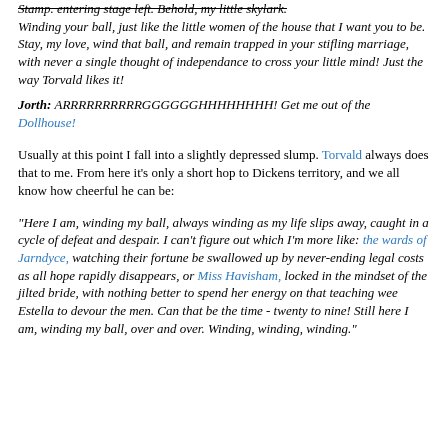Stamp. entering stage left. Behold, my little skylark. Winding your ball, just like the little women of the house that I want you to be. Stay, my love, wind that ball, and remain trapped in your stifling marriage, with never a single thought of independance to cross your little mind! Just the way Torvald likes it!
Jorth: ARRRRRRRRRRGGGGGGHHHHHHHH! Get me out of the Dollhouse!
Usually at this point I fall into a slightly depressed slump. Torvald always does that to me. From here it's only a short hop to Dickens territory, and we all know how cheerful he can be:
"Here I am, winding my ball, always winding as my life slips away, caught in a cycle of defeat and despair. I can't figure out which I'm more like: the wards of Jarndyce, watching their fortune be swallowed up by never-ending legal costs as all hope rapidly disappears, or Miss Havisham, locked in the mindset of the jilted bride, with nothing better to spend her energy on that teaching wee Estella to devour the men. Can that be the time - twenty to nine! Still here I am, winding my ball, over and over. Winding, winding, winding."